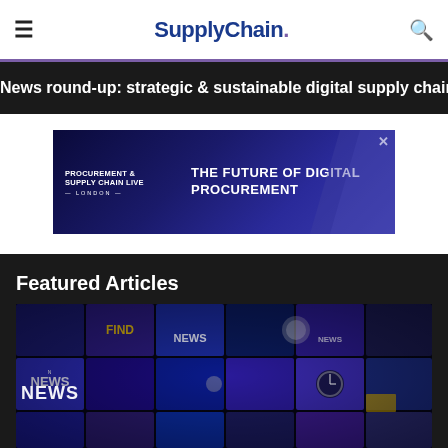SupplyChain.
News round-up: strategic & sustainable digital supply chain
[Figure (screenshot): Advertisement banner for Procurement & Supply Chain Live London event: THE FUTURE OF DIGITAL PROCUREMENT]
Featured Articles
[Figure (photo): Mosaic of blue-toned news media screens showing NEWS text and various media icons]